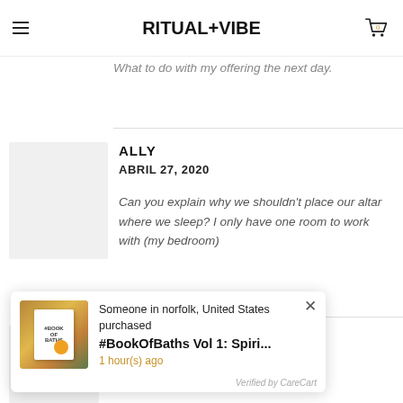RITUAL+VIBE
What to do with my offering the next day.
ALLY
ABRIL 27, 2020

Can you explain why we shouldn't place our altar where we sleep? I only have one room to work with (my bedroom)
ASH
[Figure (screenshot): Notification popup: 'Someone in norfolk, United States purchased #BookOfBaths Vol 1: Spiri... 1 hour(s) ago. Verified by CareCart.' with book product image.]